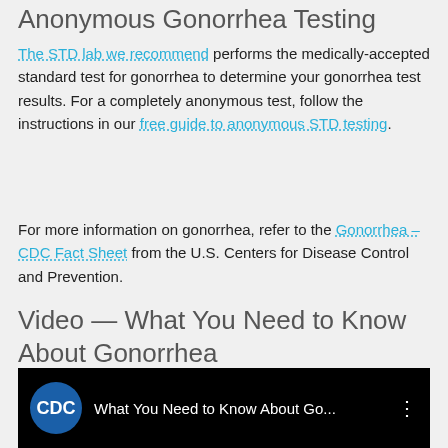Anonymous Gonorrhea Testing
The STD lab we recommend performs the medically-accepted standard test for gonorrhea to determine your gonorrhea test results. For a completely anonymous test, follow the instructions in our free guide to anonymous STD testing.
For more information on gonorrhea, refer to the Gonorrhea – CDC Fact Sheet from the U.S. Centers for Disease Control and Prevention.
Video — What You Need to Know About Gonorrhea
[Figure (screenshot): YouTube video thumbnail showing CDC logo and title 'What You Need to Know About Go...' with three-dot menu icon on black background]